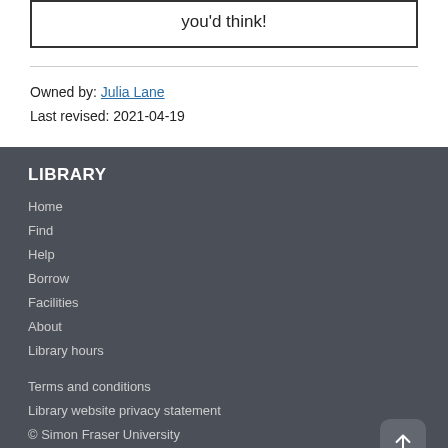you'd think!
Owned by: Julia Lane
Last revised: 2021-04-19
LIBRARY
Home
Find
Help
Borrow
Facilities
About
Library hours
Terms and conditions
Library website privacy statement
© Simon Fraser University
CONNECT